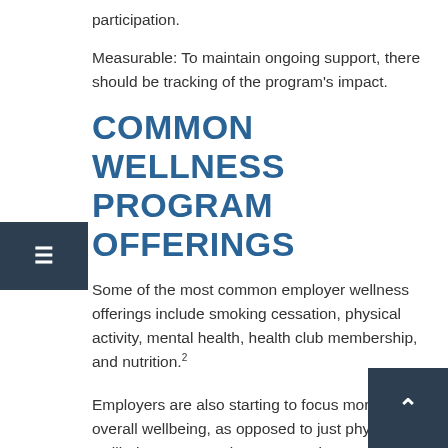participation.
Measurable: To maintain ongoing support, there should be tracking of the program's impact.
COMMON WELLNESS PROGRAM OFFERINGS
Some of the most common employer wellness offerings include smoking cessation, physical activity, mental health, health club membership, and nutrition.2
Employers are also starting to focus more on overall wellbeing, as opposed to just physical wellbeing. As a result, some employers are adding other features to their wellness programs, such as programs that address stress management.